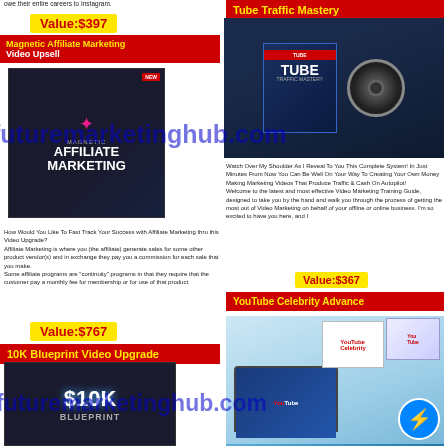owe their entire careers to Instagram.
Value:$397
Magnetic Affiliate Marketing Video Upsell
[Figure (photo): Magnetic Affiliate Marketing product box - dark background with pink robot icon and white text]
How Would You Like To Fast Track Your Success with Affiliate Marketing thru this Video Upgrade? Affiliate Marketing is where you (the affiliate) generate sales for some other product vendor(s) and in exchange they pay you a commission for each sale that you make. Some affiliate programs are "continuity" programs in that they require that the customer pay a monthly fee for membership or for use of that product.
Value:$767
10K Blueprint Video Upgrade
[Figure (photo): $10K Blueprint product image]
Tube Traffic Mastery
[Figure (photo): Tube Traffic Mastery DVD box and film reel product image]
Watch Over My Shoulder As I Reveal To You This Complete System! In Just Minutes From Now You Can Be Well On Your Way To Creating Your Own Money Making Marketing Videos That Produce Traffic & Cash On Autopilot! Welcome to the latest and most effective Video Marketing Training Guide, designed to take you by the hand and walk you through the process of getting the most out of Video Marketing on behalf of your offline or online business. I'm so excited to have you here, and I
Value:$367
YouTube Celebrity Advance
[Figure (photo): YouTube Celebrity Advance product bundle image with laptop and various materials]